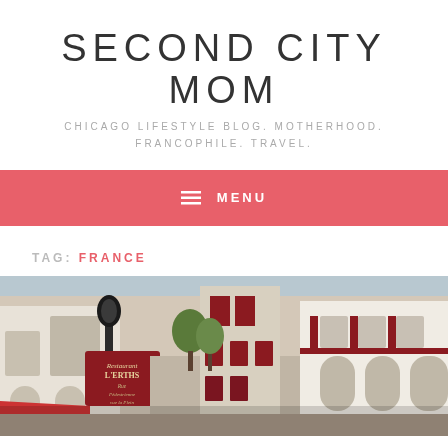SECOND CITY MOM
CHICAGO LIFESTYLE BLOG. MOTHERHOOD. FRANCOPHILE. TRAVEL.
≡ MENU
TAG: FRANCE
[Figure (photo): Street scene in a French town showing a narrow street with traditional Basque-style architecture, red shutters, a restaurant sign reading 'Restaurant L'ARTHS', hanging lanterns, and awnings.]